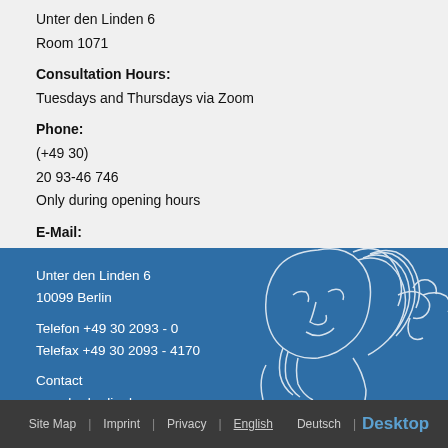Unter den Linden 6
Room 1071
Consultation Hours:
Tuesdays and Thursdays via Zoom
Phone:
(+49 30)
20 93-46 746
Only during opening hours
E-Mail:
visaservice@hu-berlin.de
Unter den Linden 6
10099 Berlin

Telefon +49 30 2093 - 0
Telefax +49 30 2093 - 4170

Contact
www.hu-berlin.de
Site Map  |  Imprint  |  Privacy  |  English  |  Deutsch  | Desktop